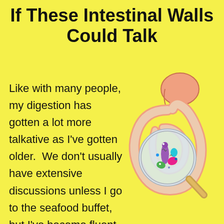If These Intestinal Walls Could Talk
[Figure (illustration): Illustration of the human digestive system (stomach and intestines) with a magnifying glass showing cartoon gut bacteria/microbes inside the intestines.]
Like with many people, my digestion has gotten a lot more talkative as I've gotten older.  We don't usually have extensive discussions unless I go to the seafood buffet, but I've become fluent enough to carry on a basic